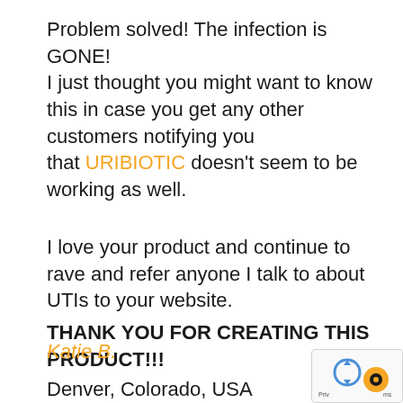Problem solved! The infection is GONE! I just thought you might want to know this in case you get any other customers notifying you that URIBIOTIC doesn't seem to be working as well.
I love your product and continue to rave and refer anyone I talk to about UTIs to your website.
THANK YOU FOR CREATING THIS PRODUCT!!!
Katie B.
Denver, Colorado, USA
[Figure (other): reCAPTCHA widget with blue recycling arrow icon and yellow/black circular icon, showing 'Priv' and 'ms' text fragments]